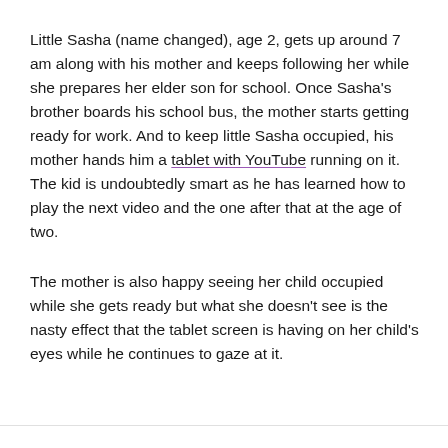Little Sasha (name changed), age 2, gets up around 7 am along with his mother and keeps following her while she prepares her elder son for school. Once Sasha's brother boards his school bus, the mother starts getting ready for work. And to keep little Sasha occupied, his mother hands him a tablet with YouTube running on it. The kid is undoubtedly smart as he has learned how to play the next video and the one after that at the age of two.
The mother is also happy seeing her child occupied while she gets ready but what she doesn't see is the nasty effect that the tablet screen is having on her child's eyes while he continues to gaze at it.